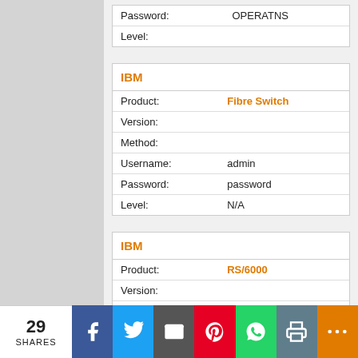| Field | Value |
| --- | --- |
| Password: | OPERATNS |
| Level: |  |
| Field | Value |
| --- | --- |
| Product: | Fibre Switch |
| Version: |  |
| Method: |  |
| Username: | admin |
| Password: | password |
| Level: | N/A |
| Field | Value |
| --- | --- |
| Product: | RS/6000 |
| Version: |  |
| Method: | root |
29 SHARES